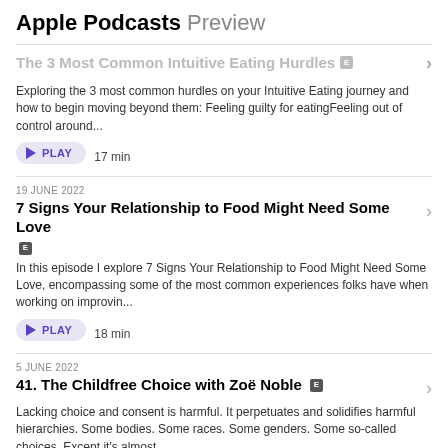Apple Podcasts Preview
The 3 Most Common Intuitive Eating Hurdles
Exploring the 3 most common hurdles on your Intuitive Eating journey and how to begin moving beyond them: Feeling guilty for eatingFeeling out of control around...
PLAY  17 min
19 JUNE 2022
7 Signs Your Relationship to Food Might Need Some Love
In this episode I explore 7 Signs Your Relationship to Food Might Need Some Love, encompassing some of the most common experiences folks have when working on improvin...
PLAY  18 min
5 JUNE 2022
41. The Childfree Choice with Zoë Noble
Lacking choice and consent is harmful. It perpetuates and solidifies harmful hierarchies. Some bodies. Some races. Some genders. Some so-called choices. Except it's almost...
PLAY  1 hr 9 min